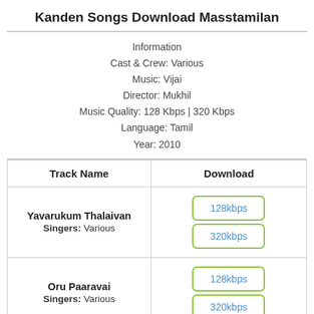Kanden Songs Download Masstamilan
Information
Cast & Crew: Various
Music: Vijai
Director: Mukhil
Music Quality: 128 Kbps | 320 Kbps
Language: Tamil
Year: 2010
| Track Name | Download |
| --- | --- |
| Yavarukum Thalaivan
Singers: Various | 128kbps | 320kbps |
| Oru Paaravai
Singers: Various | 128kbps | 320kbps |
| Ninivugal | 128kbps | 320kbps |